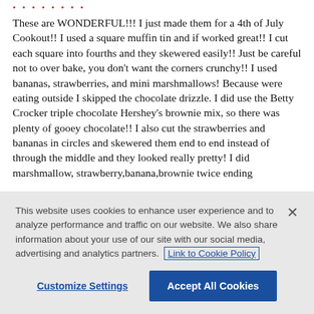• • • • • • • •
These are WONDERFUL!!! I just made them for a 4th of July Cookout!! I used a square muffin tin and if worked great!! I cut each square into fourths and they skewered easily!! Just be careful not to over bake, you don't want the corners crunchy!! I used bananas, strawberries, and mini marshmallows! Because were eating outside I skipped the chocolate drizzle. I did use the Betty Crocker triple chocolate Hershey's brownie mix, so there was plenty of gooey chocolate!! I also cut the strawberries and bananas in circles and skewered them end to end instead of through the middle and they looked really pretty! I did marshmallow, strawberry,banana,brownie twice ending
This website uses cookies to enhance user experience and to analyze performance and traffic on our website. We also share information about your use of our site with our social media, advertising and analytics partners. Link to Cookie Policy
Customize Settings
Accept All Cookies